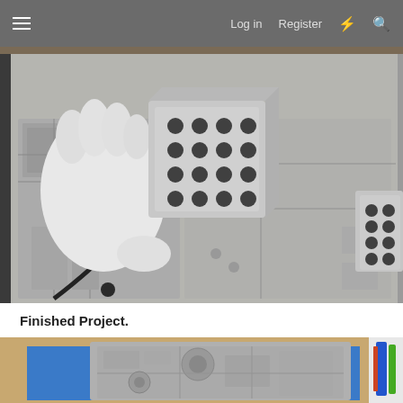Log in  Register
[Figure (photo): Top-down photo of a gloved hand holding a metallic cube-shaped object with circular holes, positioned over a grey sci-fi themed miniature terrain board with various mechanical details, panels, and a hexagonal hatch element. Another similar cube is visible at the right edge.]
Finished Project.
[Figure (photo): Partially visible photo showing a grey 3D-printed or cast sci-fi terrain tile with detailed mechanical relief patterns including circular and mechanical motifs, resting on a blue cutting mat on a wooden surface, with colorful craft supplies visible at right edge.]